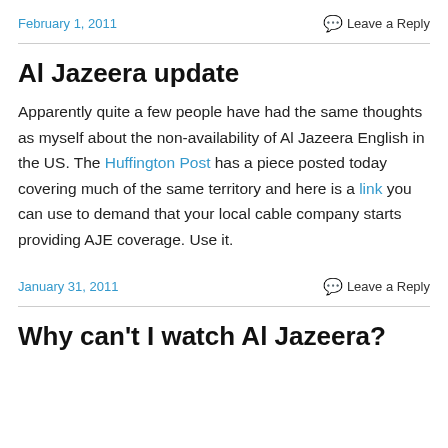February 1, 2011
Leave a Reply
Al Jazeera update
Apparently quite a few people have had the same thoughts as myself about the non-availability of Al Jazeera English in the US. The Huffington Post has a piece posted today covering much of the same territory and here is a link you can use to demand that your local cable company starts providing AJE coverage. Use it.
January 31, 2011
Leave a Reply
Why can't I watch Al Jazeera?